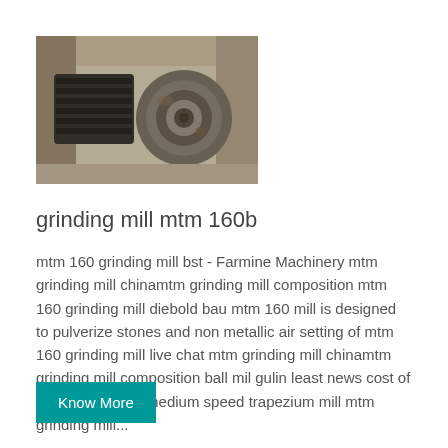[Figure (photo): A photograph of an old industrial grinding mill motor/component, showing a rusted circular part and mechanical assembly in a weathered wooden/metal frame.]
grinding mill mtm 160b
mtm 160 grinding mill bst - Farmine Machinery mtm grinding mill chinamtm grinding mill composition mtm 160 grinding mill diebold bau mtm 160 mill is designed to pulverize stones and non metallic air setting of mtm 160 grinding mill live chat mtm grinding mill chinamtm grinding mill composition ball mil gulin least news cost of setting up stone medium speed trapezium mill mtm grinding mill...
Know More